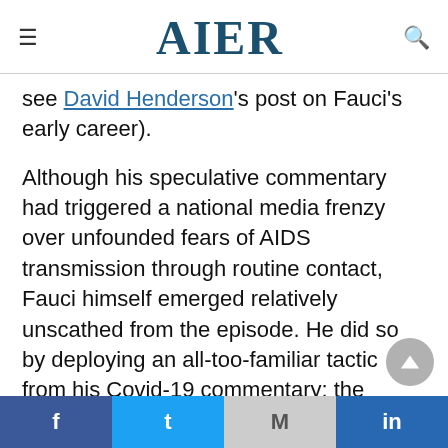AIER
see David Henderson's post on Fauci's early career).
Although his speculative commentary had triggered a national media frenzy over unfounded fears of AIDS transmission through routine contact, Fauci himself emerged relatively unscathed from the episode. He did so by deploying an all-too-familiar tactic from his Covid-19 commentary: the political pivot, executed in front of a fawning news media.
f  Twitter  M  in